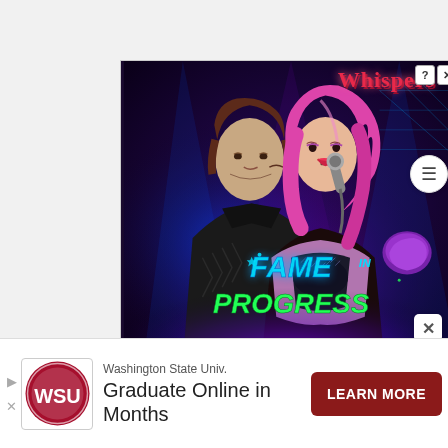[Figure (illustration): Whispers game advertisement showing two illustrated characters — a man in a leather jacket and a woman with pink hair holding a microphone — with glowing purple/blue stage lighting, 'Whispers' logo in red at top right, and 'FAME IN PROGRESS' text at the bottom in neon cyan and green. Help and close buttons in the top right corner of the ad.]
[Figure (illustration): Bottom banner advertisement for Washington State University showing the WSU circular logo, text 'Washington State Univ.' and 'Graduate Online in Months', and a dark red 'LEARN MORE' button.]